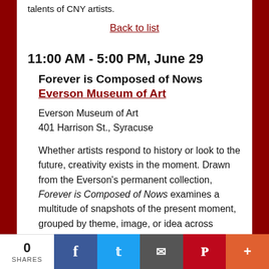talents of CNY artists.
Back to list
11:00 AM - 5:00 PM, June 29
Forever is Composed of Nows
Everson Museum of Art
Everson Museum of Art
401 Harrison St., Syracuse
Whether artists respond to history or look to the future, creativity exists in the moment. Drawn from the Everson's permanent collection, Forever is Composed of Nows examines a multitude of snapshots of the present moment, grouped by theme, image, or idea across different time periods and media. By examining how artists spanning
0 SHARES  f  Twitter  Email  Pinterest  +